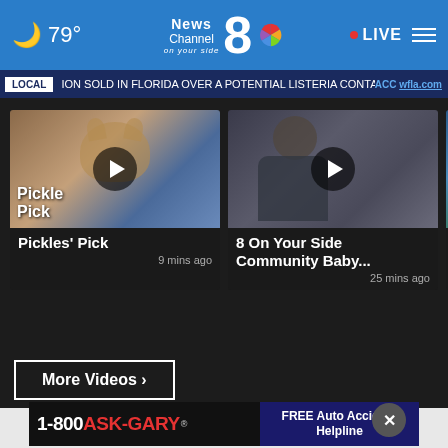79° News Channel 8 on your side LIVE
LOCAL ION SOLD IN FLORIDA OVER A POTENTIAL LISTERIA CONTAMINATION ACC wfla.com
[Figure (screenshot): Video thumbnail for Pickles' Pick showing dog image with play button]
Pickles' Pick
9 mins ago
[Figure (screenshot): Video thumbnail for 8 On Your Side Community Baby with play button]
8 On Your Side Community Baby...
25 mins ago
[Figure (screenshot): Partial video thumbnail showing weather map with FUTU text]
Increa... this w...
More Videos ›
[Figure (photo): Advertisement banner for 1-800-ASK-GARY FREE Auto Accident Helpline]